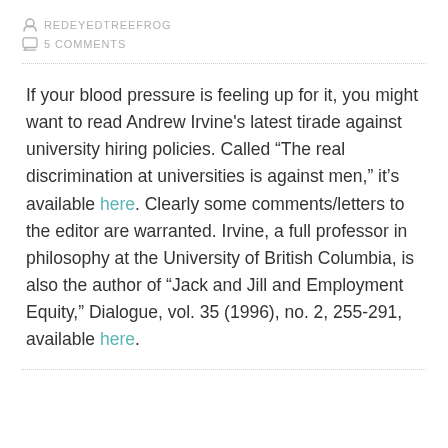REDEYEDTREEFROG
5 COMMENTS
If your blood pressure is feeling up for it, you might want to read Andrew Irvine's latest tirade against university hiring policies. Called “The real discrimination at universities is against men,” it’s available here. Clearly some comments/letters to the editor are warranted. Irvine, a full professor in philosophy at the University of British Columbia, is also the author of “Jack and Jill and Employment Equity,” Dialogue, vol. 35 (1996), no. 2, 255-291, available here.